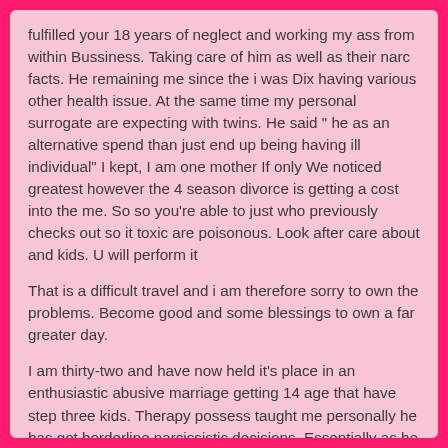fulfilled your 18 years of neglect and working my ass from within Bussiness. Taking care of him as well as their narc facts. He remaining me since the i was Dix having various other health issue. At the same time my personal surrogate are expecting with twins. He said " he as an alternative spend than just end up being having ill individual" I kept, I am one mother If only We noticed greatest however the 4 season divorce is getting a cost into the me. So so you're able to just who previously checks out so it toxic are poisonous. Look after care about and kids. U will perform it
That is a difficult travel and i am therefore sorry to own the problems. Become good and some blessings to own a far greater day.
I am thirty-two and have now held it's place in an enthusiastic abusive marriage getting 14 age that have step three kids. Therapy possess taught me personally he has got borderline narcissistic decisions. Essentially as he is not highest, he offers this conclusion. I'm putting here now to my bed on my eldest daughters birthday celebration rarely in a position to muster up opportunity. Most of the